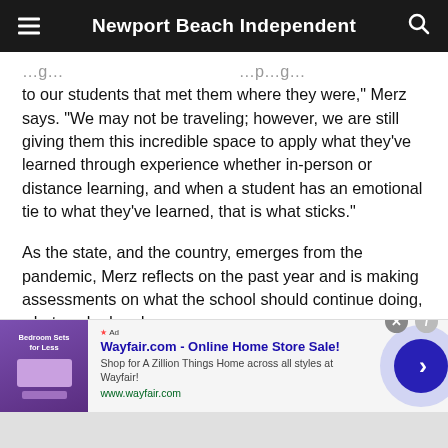Newport Beach Independent
to our students that met them where they were,” Merz says. “We may not be traveling; however, we are still giving them this incredible space to apply what they’ve learned through experience whether in-person or distance learning, and when a student has an emotional tie to what they’ve learned, that is what sticks.”
As the state, and the country, emerges from the pandemic, Merz reflects on the past year and is making assessments on what the school should continue doing, what worked and
[Figure (screenshot): Advertisement banner for Wayfair.com - Online Home Store Sale! with purple bedroom product image, ad text 'Shop for A Zillion Things Home across all styles at Wayfair! www.wayfair.com', and a blue circular arrow button on the right.]